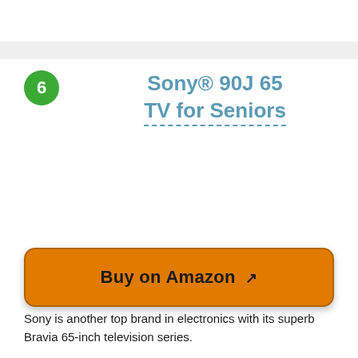6
Sony® 90J 65 TV for Seniors
[Figure (other): Buy on Amazon button with external link icon]
Sony is another top brand in electronics with its superb Bravia 65-inch television series.